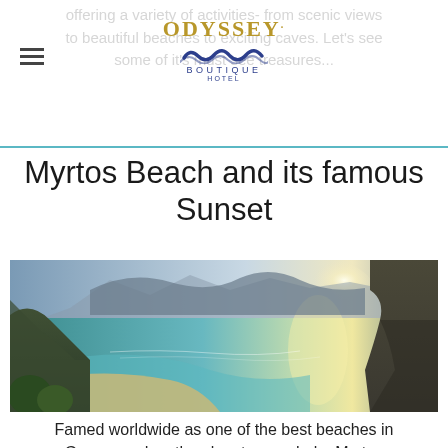ODYSSEY BOUTIQUE HOTEL
offering a variety of activities- from scenic views to beautiful beaches to exciting caves. Let's see some of it's must see treasures...
Myrtos Beach and its famous Sunset
[Figure (photo): Aerial panoramic view of Myrtos Beach in Greece, showing turquoise waters, a sandy beach, and dramatic mountain cliffs surrounding the bay, with sunlight reflecting off the sea.]
Famed worldwide as one of the best beaches in Greece and on the planet as a whole, Myrtos